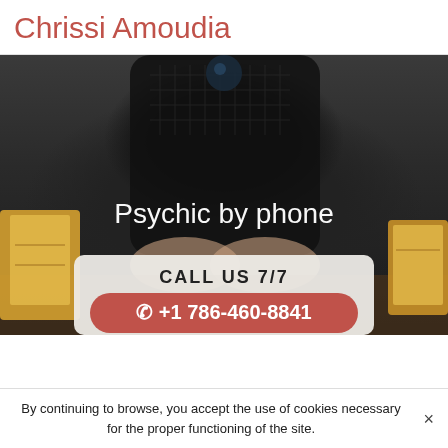Chrissi Amoudia
[Figure (photo): Dark photo of a person in a black outfit sitting at a table with tarot cards, hands resting on the table, with a crystal ball visible. Text overlay reads 'Psychic by phone'. A call-to-action box reads 'CALL US 7/7' with a pink/red button showing phone icon and '+1 786-460-8841'.]
CALL US 7/7
☎ +1 786-460-8841
By continuing to browse, you accept the use of cookies necessary for the proper functioning of the site.